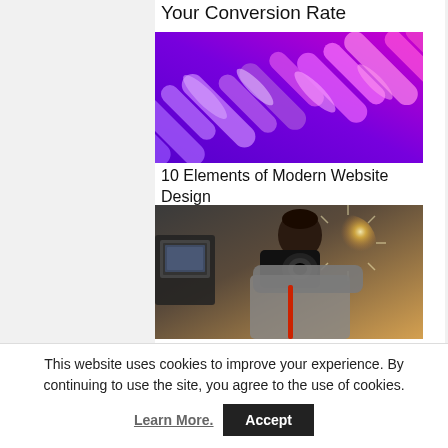Your Conversion Rate
[Figure (illustration): Abstract purple and magenta diagonal glowing stripes on dark background]
10 Elements of Modern Website Design
[Figure (photo): Woman holding a DSLR camera up to her face, with a bright starburst light behind her and camera equipment in the background]
Top B2B Branding Trends for 2021
This website uses cookies to improve your experience. By continuing to use the site, you agree to the use of cookies.
Learn More.
Accept